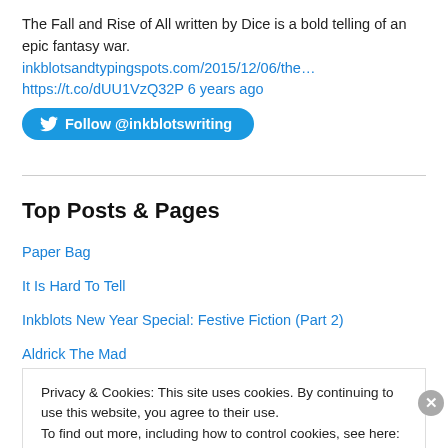The Fall and Rise of All written by Dice is a bold telling of an epic fantasy war. inkblotsandtypingspots.com/2015/12/06/the… https://t.co/dUU1VzQ32P 6 years ago
[Figure (other): Twitter Follow button for @inkblotswriting]
Top Posts & Pages
Paper Bag
It Is Hard To Tell
Inkblots New Year Special: Festive Fiction (Part 2)
Aldrick The Mad
Privacy & Cookies: This site uses cookies. By continuing to use this website, you agree to their use. To find out more, including how to control cookies, see here: Cookie Policy